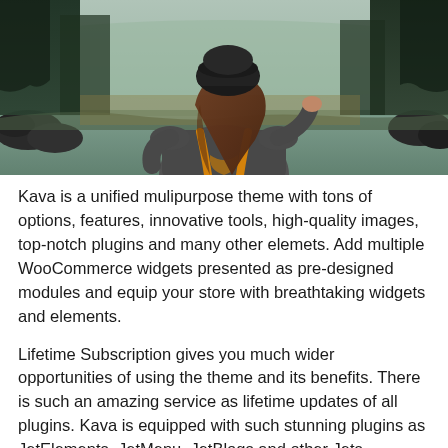[Figure (photo): A woman seen from behind, wearing a grey long-sleeve shirt and orange backpack straps, with brown hair falling down her back; set against a forested lakeside landscape with dark rocks and muted autumn tones.]
Kava is a unified mulipurpose theme with tons of options, features, innovative tools, high-quality images, top-notch plugins and many other elemets. Add multiple WooCommerce widgets presented as pre-designed modules and equip your store with breathtaking widgets and elements.
Lifetime Subscription gives you much wider opportunities of using the theme and its benefits. There is such an amazing service as lifetime updates of all plugins. Kava is equipped with such stunning plugins as JetElements, JetMenu, JetBlogs and other Jets. Besides, you will get all your plugins updated as well. This feature is great, because all of